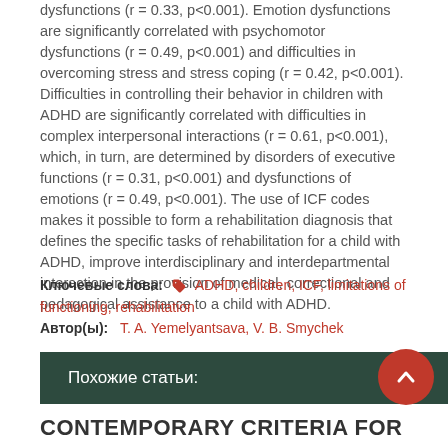dysfunctions (r = 0.33, p<0.001). Emotion dysfunctions are significantly correlated with psychomotor dysfunctions (r = 0.49, p<0.001) and difficulties in overcoming stress and stress coping (r = 0.42, p<0.001). Difficulties in controlling their behavior in children with ADHD are significantly correlated with difficulties in complex interpersonal interactions (r = 0.61, p<0.001), which, in turn, are determined by disorders of executive functions (r = 0.31, p<0.001) and dysfunctions of emotions (r = 0.49, p<0.001). The use of ICF codes makes it possible to form a rehabilitation diagnosis that defines the specific tasks of rehabilitation for a child with ADHD, improve interdisciplinary and interdepartmental interaction in the provision of medical, correctional and pedagogical assistance to a child with ADHD.
Ключевые слова: ADHD, children, ICF, limitations of functioning, rehabilitation
Автор(ы): T. A. Yemelyantsava, V. B. Smychek
Похожие статьи:
CONTEMPORARY CRITERIA FOR